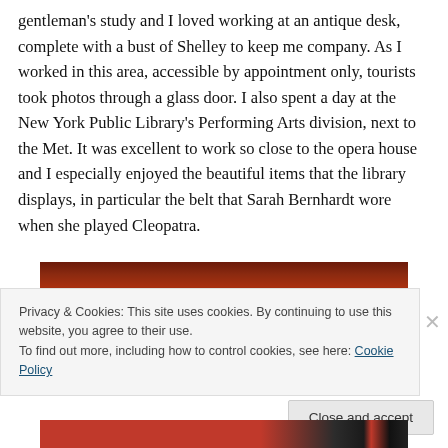gentleman's study and I loved working at an antique desk, complete with a bust of Shelley to keep me company. As I worked in this area, accessible by appointment only, tourists took photos through a glass door. I also spent a day at the New York Public Library's Performing Arts division, next to the Met. It was excellent to work so close to the opera house and I especially enjoyed the beautiful items that the library displays, in particular the belt that Sarah Bernhardt wore when she played Cleopatra.
[Figure (photo): Partial view of a wooden antique desk or furniture piece, dark reddish-brown mahogany color, shown as a horizontal strip.]
Privacy & Cookies: This site uses cookies. By continuing to use this website, you agree to their use.
To find out more, including how to control cookies, see here: Cookie Policy